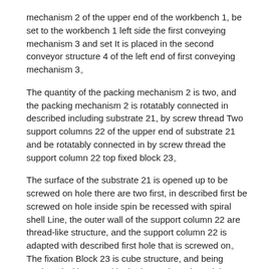mechanism 2 of the upper end of the workbench 1, be set to the workbench 1 left side the first conveying mechanism 3 and set It is placed in the second conveyor structure 4 of the left end of first conveying mechanism 3。
The quantity of the packing mechanism 2 is two, and the packing mechanism 2 is rotatably connected in described including substrate 21, by screw thread Two support columns 22 of the upper end of substrate 21 and be rotatably connected in by screw thread the support column 22 top fixed block 23。
The surface of the substrate 21 is opened up to be screwed on hole there are two first, in described first be screwed on hole inside spin be recessed with spiral shell Line, the outer wall of the support column 22 are thread-like structure, and the support column 22 is adapted with described first hole that is screwed on。The fixation Block 23 is cube structure, and being equipped with second in the inner along the axial direction of the fixed block 23 is screwed on hole, is screwed in described second Hole inside spin is recessed with screw thread, and described second hole that is screwed on is adapted with the support